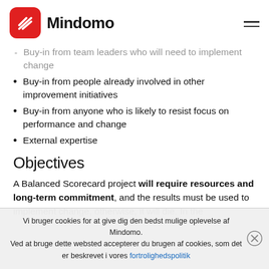Mindomo
Buy-in from team leaders who will need to implement change
Buy-in from people already involved in other improvement initiatives
Buy-in from anyone who is likely to resist focus on performance and change
External expertise
Objectives
A Balanced Scorecard project will require resources and long-term commitment, and the results must be used to implement change, otherwise, it will die. In the
Vi bruger cookies for at give dig den bedst mulige oplevelse af Mindomo.
Ved at bruge dette websted accepterer du brugen af cookies, som det er beskrevet i vores fortrolighedspolitik